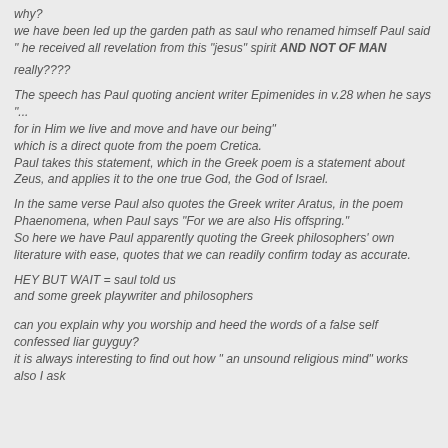why?
we have been led up the garden path as saul who renamed himself Paul said " he received all revelation from this "jesus" spirit AND NOT OF MAN
really????
The speech has Paul quoting ancient writer Epimenides in v.28 when he says "...
for in Him we live and move and have our being"
which is a direct quote from the poem Cretica.
Paul takes this statement, which in the Greek poem is a statement about Zeus, and applies it to the one true God, the God of Israel.
In the same verse Paul also quotes the Greek writer Aratus, in the poem Phaenomena, when Paul says "For we are also His offspring."
So here we have Paul apparently quoting the Greek philosophers' own literature with ease, quotes that we can readily confirm today as accurate.
HEY BUT WAIT = saul told us
and some greek playwriter and philosophers
can you explain why you worship and heed the words of a false self confessed liar guyguy?
it is always interesting to find out how " an unsound religious mind" works
also I ask